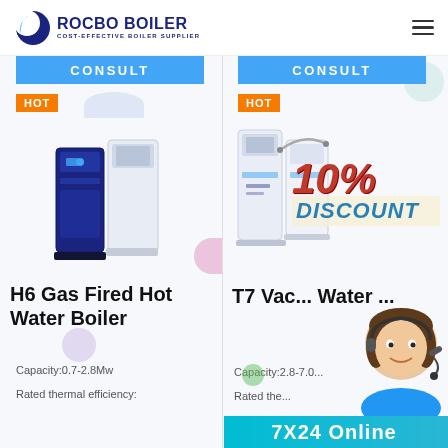[Figure (logo): Rocbo Boiler logo with crescent icon and text 'ROCBO BOILER / COST-EFFECTIVE BOILER SUPPLIER']
CONSULT
CONSULT
HOT
HOT
[Figure (photo): H6 Gas Fired Hot Water Boiler product image - blue and white unit]
H6 Gas Fired Hot Water Boiler
Capacity:0.7-2.8Mw
Rated thermal efficiency:
[Figure (photo): T7 Vacuum Hot Water Boiler product image with 10% DISCOUNT badge]
T7 Vacuum Hot Water Boiler
Capacity:2.8-7.0...
Rated the...
[Figure (photo): Customer service representative with headset]
7X24 Online